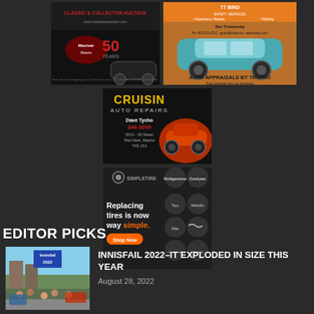[Figure (advertisement): Classic & Collector Auction - Maciver Motors 50 Years advertisement with dark background and classic car]
[Figure (advertisement): Auto Appraisals by Trefko - TT Bird Safety Services advertisement with teal classic car on orange/brick background]
[Figure (advertisement): Cruisin Auto Repairs - Dave Tycho, 346-3099, advertisement with hot rod car graphic]
[Figure (advertisement): SimpleTire - Replacing tires is now way simple. Shop Now. With tire brand logos including Bridgestone, Goodyear, etc.]
EDITOR PICKS
[Figure (photo): Innisfail 2022 street scene photo with crowd and vehicles]
INNISFAIL 2022–IT EXPLODED IN SIZE THIS YEAR
August 28, 2022